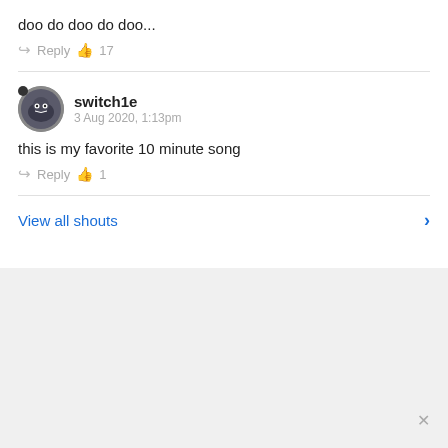doo do doo do doo...
Reply  👍 17
switch1e
3 Aug 2020, 1:13pm
this is my favorite 10 minute song
Reply  👍 1
View all shouts